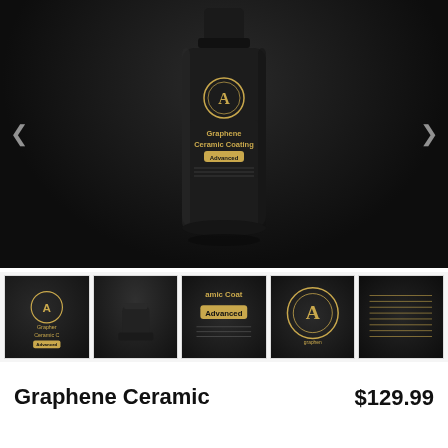[Figure (photo): Large product photo of a black matte bottle labeled 'Graphene Ceramic Coating Advanced' by Adam's Polishes, photographed against a dark background with dramatic lighting.]
[Figure (photo): Row of 5 thumbnail images showing different angles of the Graphene Ceramic Coating bottle: side label view, cap detail, 'Advanced' label close-up, logo close-up, and back label text.]
Graphene Ceramic
$129.99